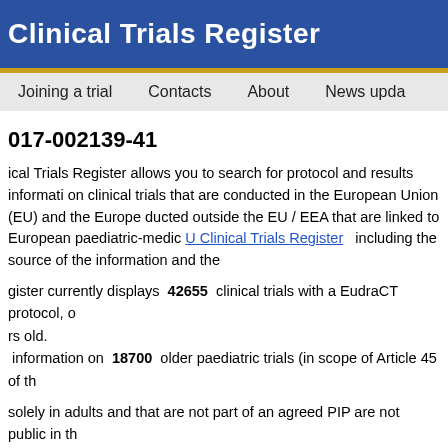Clinical Trials Register
017-002139-41
ical Trials Register allows you to search for protocol and results information on clinical trials that are conducted in the European Union (EU) and the European Economic Area (EEA) and on clinical trials conducted outside the EU / EEA that are linked to European paediatric-medicine development. The EU Clinical Trials Register including the source of the information and the EU Clinical Trials Register.
Register currently displays 42655 clinical trials with a EudraCT protocol, of which 5592 are clinical trials conducted with subjects less than 18 years old.
It also provides information on 18700 older paediatric trials (in scope of Article 45 of the Paediatric Regulation (EC) No 1901/2006).
solely in adults and that are not part of an agreed PIP are not public in this register. For more information see the European Commission Guideline 2012/C 302/03, Art. 5) .
"Trial now transitioned" were transitioned to the Clinical Trial Regulation 536/2014.